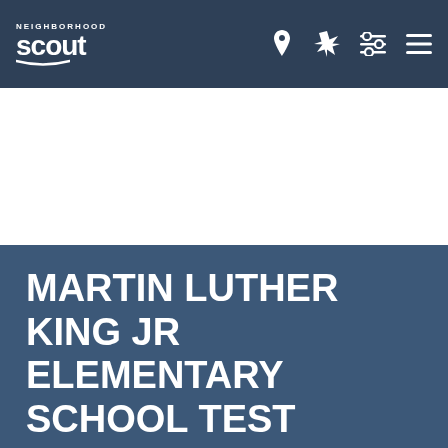Neighborhood Scout navigation bar
MARTIN LUTHER KING JR ELEMENTARY SCHOOL TEST SCORES (No Child Left Behind Tests)